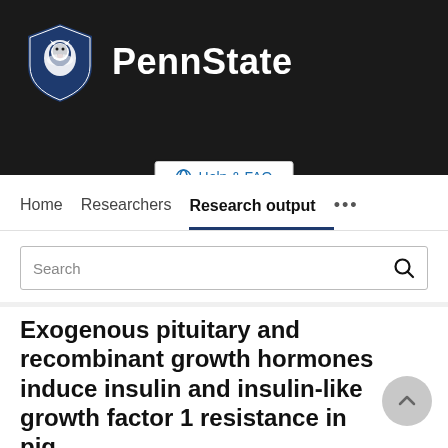[Figure (logo): Penn State University logo with Nittany Lion shield and PennState wordmark on dark background]
Help & FAQ
Home   Researchers   Research output   ...
Search
Exogenous pituitary and recombinant growth hormones induce insulin and insulin-like growth factor 1 resistance in pig